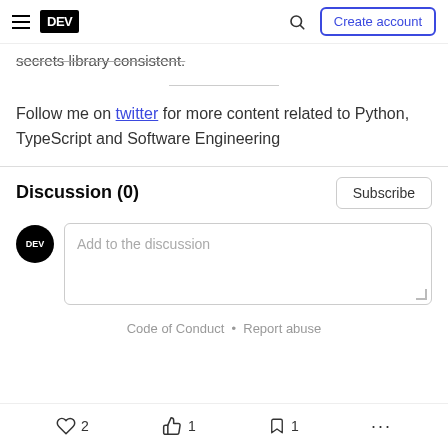DEV — Create account
secrets library consistent.
Follow me on twitter for more content related to Python, TypeScript and Software Engineering
Discussion (0)
Add to the discussion
Code of Conduct • Report abuse
2   1   1   ...